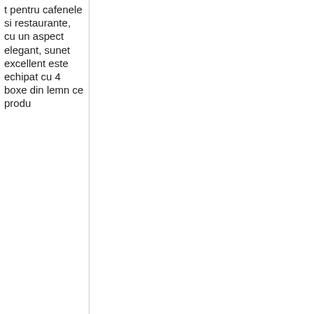t pentru cafenele si restaurante, cu un aspect elegant, sunet excellent este echipat cu 4 boxe din lemn ce produ